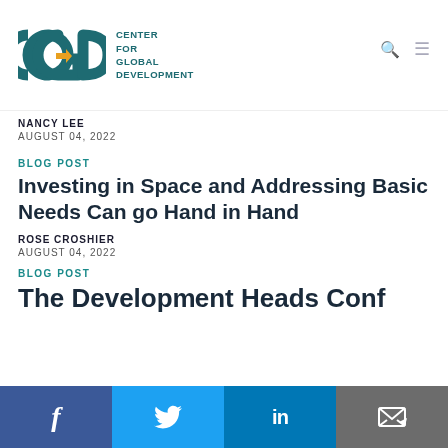[Figure (logo): Center for Global Development (CGD) logo with teal and yellow letters and text]
NANCY LEE
AUGUST 04, 2022
BLOG POST
Investing in Space and Addressing Basic Needs Can go Hand in Hand
ROSE CROSHIER
AUGUST 04, 2022
BLOG POST
The Development...
[Figure (other): Social share bar with Facebook, Twitter, LinkedIn, and email icons]